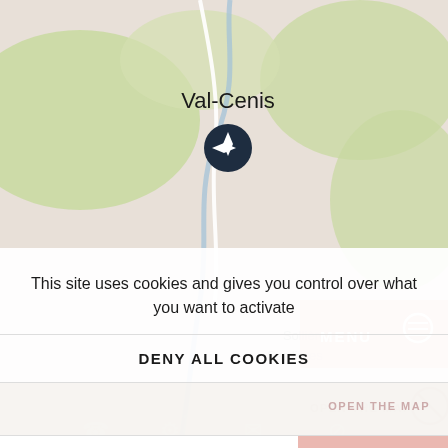[Figure (map): Map showing Val-Cenis location marker with surrounding terrain including Sollières and Sardières labels, blue river, green terrain. Partially obscured by cookie consent overlay.]
This site uses cookies and gives you control over what you want to activate
DENY ALL COOKIES
OPEN THE MAP
PERSONALIZE
MENU
OK, ACCEPT ALL